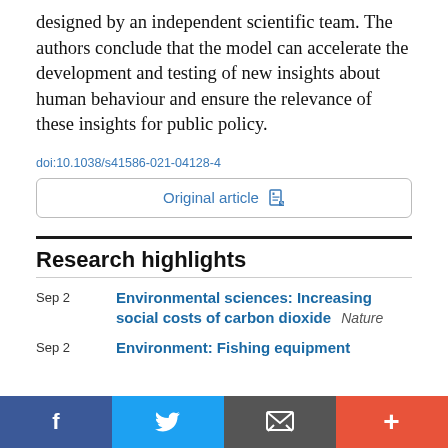designed by an independent scientific team. The authors conclude that the model can accelerate the development and testing of new insights about human behaviour and ensure the relevance of these insights for public policy.
doi:10.1038/s41586-021-04128-4
Original article
Research highlights
Sep 2  Environmental sciences: Increasing social costs of carbon dioxide  Nature
Sep 2  Environment: Fishing equipment